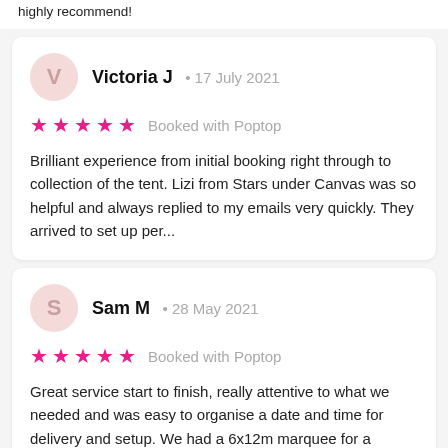highly recommend!
Victoria J · 17 July 2021
★★★★★ Booked with Poptop
Brilliant experience from initial booking right through to collection of the tent. Lizi from Stars under Canvas was so helpful and always replied to my emails very quickly. They arrived to set up per...
Sam M · 28 May 2021
★★★★★ Booked with Poptop
Great service start to finish, really attentive to what we needed and was easy to organise a date and time for delivery and setup. We had a 6x12m marquee for a garden wedding. Everything was put toge...